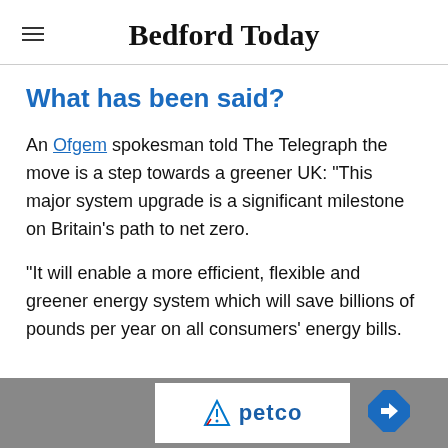Bedford Today
What has been said?
An Ofgem spokesman told The Telegraph the move is a step towards a greener UK: “This major system upgrade is a significant milestone on Britain’s path to net zero.
“It will enable a more efficient, flexible and greener energy system which will save billions of pounds per year on all consumers’ energy bills.
[Figure (other): Advertisement banner at bottom of page featuring Petco logo and navigation icon]